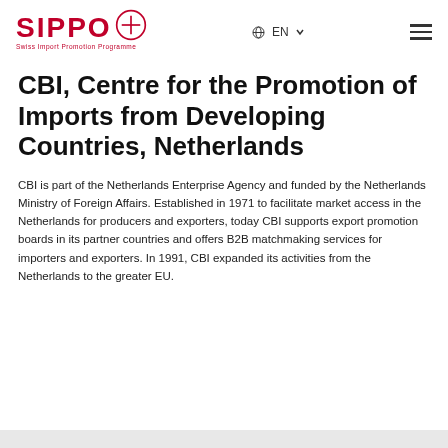SIPPO Swiss Import Promotion Programme | EN | menu
CBI, Centre for the Promotion of Imports from Developing Countries, Netherlands
CBI is part of the Netherlands Enterprise Agency and funded by the Netherlands Ministry of Foreign Affairs. Established in 1971 to facilitate market access in the Netherlands for producers and exporters, today CBI supports export promotion boards in its partner countries and offers B2B matchmaking services for importers and exporters. In 1991, CBI expanded its activities from the Netherlands to the greater EU.